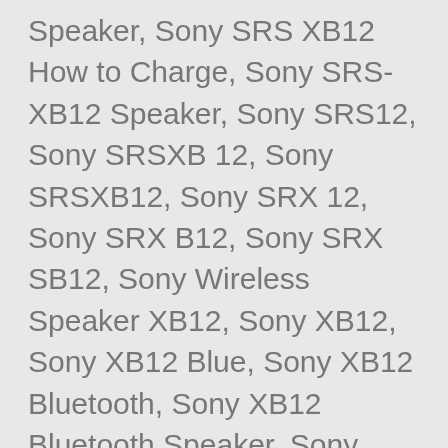Speaker, Sony SRS XB12 How to Charge, Sony SRS-XB12 Speaker, Sony SRS12, Sony SRSXB 12, Sony SRSXB12, Sony SRX 12, Sony SRX B12, Sony SRX SB12, Sony Wireless Speaker XB12, Sony XB12, Sony XB12 Blue, Sony XB12 Bluetooth, Sony XB12 Bluetooth Speaker, Sony XB12 Charging, Sony XB12 Extra Bass, Sony XB12 Portable, Sony